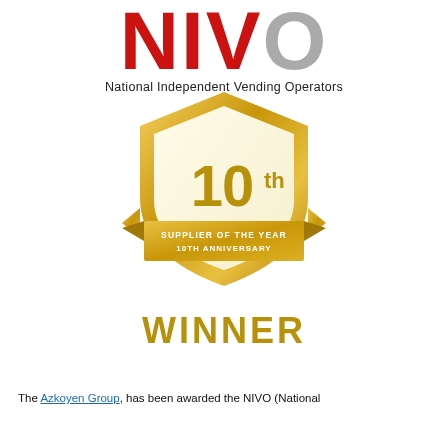[Figure (logo): NIVO (National Independent Vending Operators) logo with large red letters N, I, V and gray O, followed by subtitle 'National Independent Vending Operators']
[Figure (illustration): Gold shield badge with '10th' in large text and a gold ribbon banner reading 'SUPPLIER OF THE YEAR 10TH ANNIVERSARY']
WINNER
The Azkoyen Group, has been awarded the NIVO (National